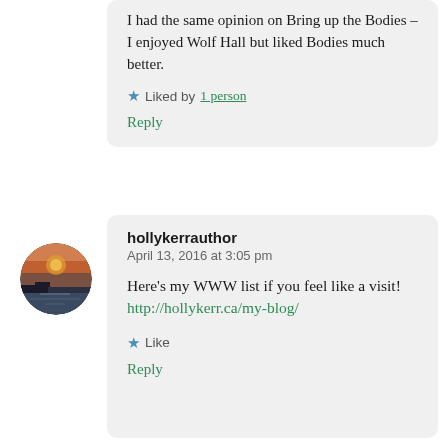I had the same opinion on Bring up the Bodies – I enjoyed Wolf Hall but liked Bodies much better.
Liked by 1 person
Reply
[Figure (photo): Circular avatar photo showing a sunset or sunrise over water with silhouetted landscape]
hollykerrauthor
April 13, 2016 at 3:05 pm
Here's my WWW list if you feel like a visit! http://hollykerr.ca/my-blog/
Like
Reply